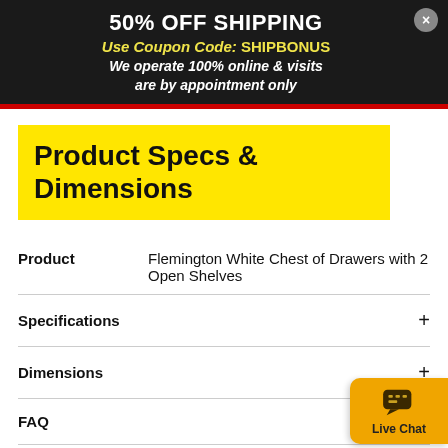50% OFF SHIPPING
Use Coupon Code: SHIPBONUS
We operate 100% online & visits are by appointment only
Product Specs & Dimensions
| Field | Value |
| --- | --- |
| Product | Flemington White Chest of Drawers with 2 Open Shelves |
| Specifications | + |
| Dimensions | + |
| FAQ |  |
| Warranty | 5 yrs extended warranty available |
[Figure (other): Live Chat button with speech bubble icon]